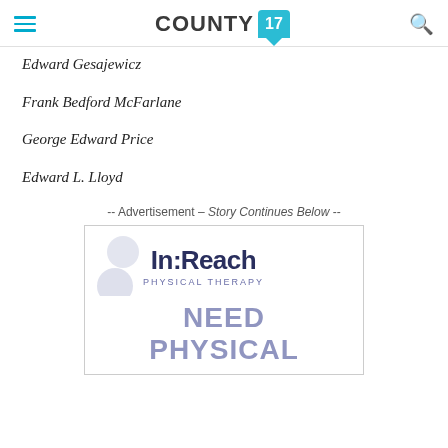COUNTY 17
Edward Gesajewicz
Frank Bedford McFarlane
George Edward Price
Edward L. Lloyd
-- Advertisement – Story Continues Below --
[Figure (logo): In:Reach Physical Therapy advertisement with logo and text reading NEED PHYSICAL]